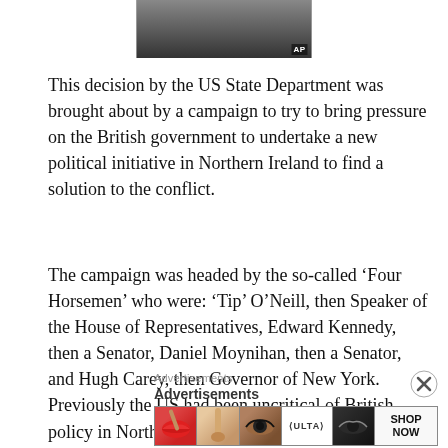[Figure (photo): Partial photo of a person in a suit with tie, AP watermark in corner]
This decision by the US State Department was brought about by a campaign to try to bring pressure on the British government to undertake a new political initiative in Northern Ireland to find a solution to the conflict.
The campaign was headed by the so-called ‘Four Horsemen’ who were: ‘Tip’ O’Neill, then Speaker of the House of Representatives, Edward Kennedy, then a Senator, Daniel Moynihan, then a Senator, and Hugh Carey, then Governor of New York. Previously the US had been uncritical of British policy in Northern Ireland and these developments were to prove worrying for the British
Advertisements
[Figure (photo): Ulta Beauty advertisement banner showing close-up of eyes with makeup, lips, makeup brush, and ULTA logo with SHOP NOW call to action]